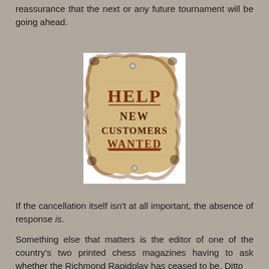reassurance that the next or any future tournament will be going ahead.
[Figure (illustration): A vintage-style distressed parchment sign with burnt edges reading 'HELP NEW CUSTOMERS WANTED' in western-style lettering, pinned with two metal tacks.]
If the cancellation itself isn't at all important, the absence of response is.
Something else that matters is the editor of one of the country's two printed chess magazines having to ask whether the Richmond Rapidplay has ceased to be. Ditto